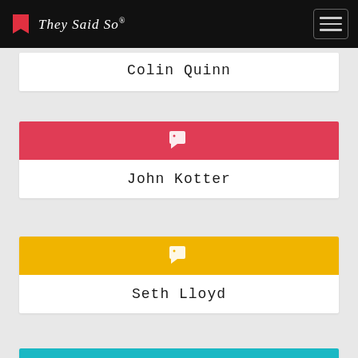They Said So®
Colin Quinn
[Figure (illustration): Red card with white tag icon]
John Kotter
[Figure (illustration): Yellow/gold card with white tag icon]
Seth Lloyd
[Figure (illustration): Teal card with white tag icon (partial, cut off at bottom)]